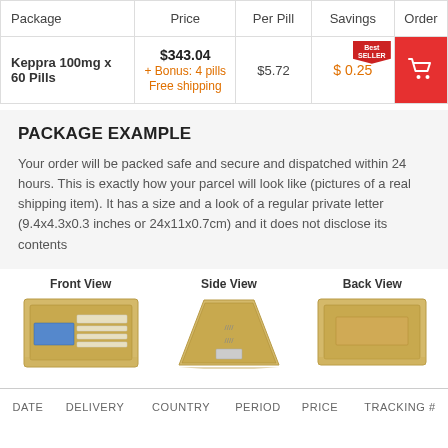| Package | Price | Per Pill | Savings | Order |
| --- | --- | --- | --- | --- |
| Keppra 100mg x 60 Pills | $343.04
+ Bonus: 4 pills
Free shipping | $5.72 | $ 0.25 | [cart] |
PACKAGE EXAMPLE
Your order will be packed safe and secure and dispatched within 24 hours. This is exactly how your parcel will look like (pictures of a real shipping item). It has a size and a look of a regular private letter (9.4x4.3x0.3 inches or 24x11x0.7cm) and it does not disclose its contents
[Figure (photo): Front view of a padded yellow/kraft envelope, showing address label area and a blue label on the left side]
[Figure (photo): Side view of a padded yellow/kraft envelope shown as a trapezoid shape from the side, showing the bubble wrap padding thickness]
[Figure (photo): Back view of a padded yellow/kraft envelope, flat surface showing the sealed back]
| DATE | DELIVERY | COUNTRY | PERIOD | PRICE | TRACKING # |
| --- | --- | --- | --- | --- | --- |